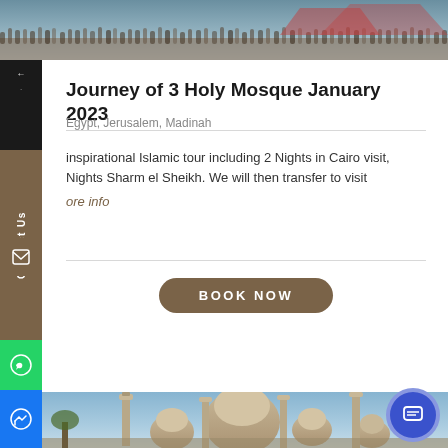[Figure (photo): Top banner image showing a crowded winter market or plaza with people and structures, blue-grey tones]
Journey of 3 Holy Mosque January 2023
Egypt, Jerusalem, Madinah
inspirational Islamic tour including 2 Nights in Cairo visit, Nights Sharm el Sheikh. We will then transfer to visit
ore info
BOOK NOW
[Figure (photo): Mosque with large domes and minarets against a blue sky, sandy stone architecture — likely Muhammad Ali Mosque in Cairo]